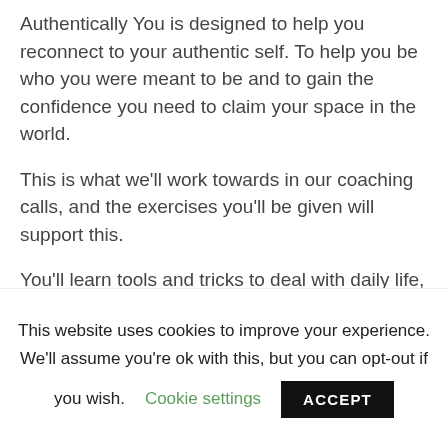Authentically You is designed to help you reconnect to your authentic self. To help you be who you were meant to be and to gain the confidence you need to claim your space in the world.
This is what we'll work towards in our coaching calls, and the exercises you'll be given will support this.
You'll learn tools and tricks to deal with daily life, so you can keep going when we finish our meetings.
If you're ready to go, all in and excited to change...
This website uses cookies to improve your experience. We'll assume you're ok with this, but you can opt-out if you wish. Cookie settings ACCEPT